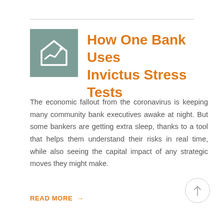[Figure (logo): Teal/sage green square icon with a white house outline and a zigzag trend line inside the house]
How One Bank Uses Invictus Stress Tests
The economic fallout from the coronavirus is keeping many community bank executives awake at night. But some bankers are getting extra sleep, thanks to a tool that helps them understand their risks in real time, while also seeing the capital impact of any strategic moves they might make.
READ MORE →